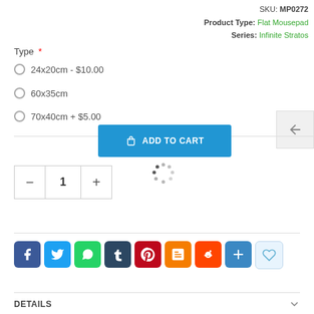SKU: MP0272 | Product Type: Flat Mousepad | Series: Infinite Stratos
Type * - 24x20cm - $10.00
60x35cm
70x40cm + $5.00
[Figure (screenshot): Add to Cart button (blue) with cart icon]
[Figure (other): Loading spinner dots circle]
[Figure (other): Quantity selector with minus, 1, plus buttons]
[Figure (other): Social share icons: Facebook, Twitter, WhatsApp, Tumblr, Pinterest, Blogger, Reddit, Share, Wishlist]
DETAILS